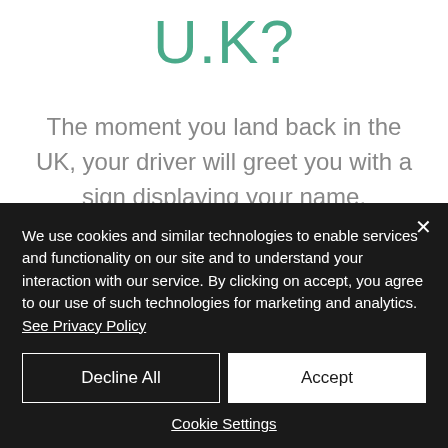U.K?
The moment you land back in the UK, your driver will greet you with a sign displaying your name. Regardless of whether your flight is delayed, your driver will be waiting at the Terminal for you, as we receive live updates on all flight arrival times. You will
We use cookies and similar technologies to enable services and functionality on our site and to understand your interaction with our service. By clicking on accept, you agree to our use of such technologies for marketing and analytics. See Privacy Policy
Decline All
Accept
Cookie Settings